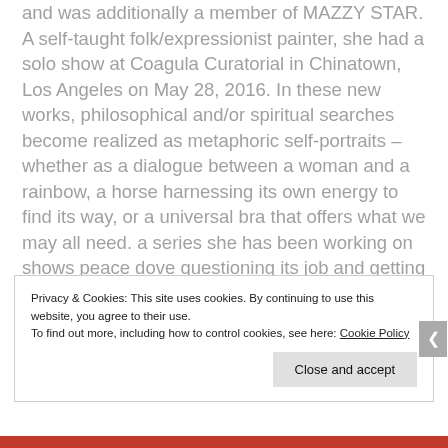and was additionally a member of MAZZY STAR. A self-taught folk/expressionist painter, she had a solo show at Coagula Curatorial in Chinatown, Los Angeles on May 28, 2016. In these new works, philosophical and/or spiritual searches become realized as metaphoric self-portraits – whether as a dialogue between a woman and a rainbow, a horse harnessing its own energy to find its way, or a universal bra that offers what we may all need. a series she has been working on shows peace dove questioning its job and getting back on the saddle after glamping with its olive branch.
Privacy & Cookies: This site uses cookies. By continuing to use this website, you agree to their use. To find out more, including how to control cookies, see here: Cookie Policy